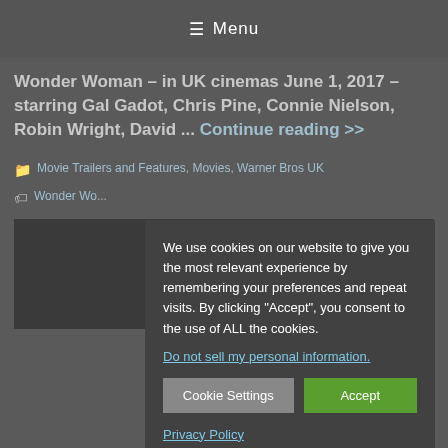☰ Menu
Wonder Woman – in UK cinemas June 1, 2017 – starring Gal Gadot, Chris Pine, Connie Nielson, Robin Wright, David ... Continue reading >>
Movie Trailers and Features, Movies, Warner Bros UK
Wonder Wo...
[Figure (photo): Dark thumbnail area showing partial image]
We use cookies on our website to give you the most relevant experience by remembering your preferences and repeat visits. By clicking "Accept", you consent to the use of ALL the cookies.
Do not sell my personal information.
Cookie Settings   Accept
Privacy Policy